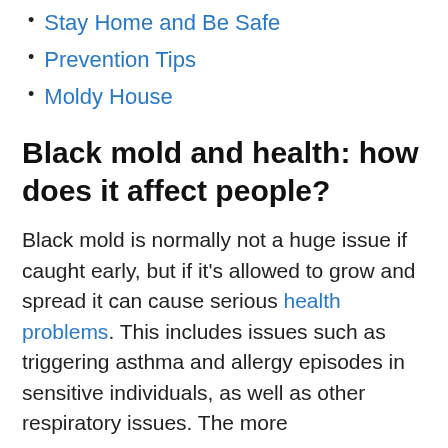Stay Home and Be Safe
Prevention Tips
Moldy House
Black mold and health: how does it affect people?
Black mold is normally not a huge issue if caught early, but if it's allowed to grow and spread it can cause serious health problems. This includes issues such as triggering asthma and allergy episodes in sensitive individuals, as well as other respiratory issues. The more